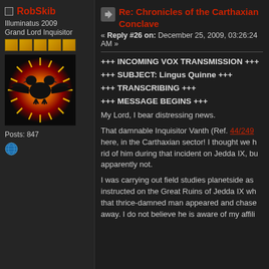RobSkib
Illuminatus 2009
Grand Lord Inquisitor
[Figure (illustration): Avatar image showing a dark sun with a double-headed black eagle silhouette on a red and yellow flame/sun background]
Posts: 847
Re: Chronicles of the Carthaxian Conclave
« Reply #26 on: December 25, 2009, 03:26:24 AM »
+++ INCOMING VOX TRANSMISSION +++
+++ SUBJECT: Lingus Quinne +++
+++ TRANSCRIBING +++
+++ MESSAGE BEGINS +++
My Lord, I bear distressing news.
That damnable Inquisitor Vanth (Ref. 44/249 here, in the Carthaxian sector! I thought we had rid of him during that incident on Jedda IX, but apparently not.
I was carrying out field studies planetside as instructed on the Great Ruins of Jedda IX when that thrice-damned man appeared and chased me away. I do not believe he is aware of my affili